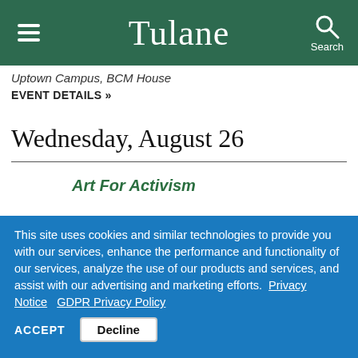Tulane
Uptown Campus, BCM House
EVENT DETAILS »
Wednesday, August 26
Art For Activism
This site uses cookies and similar technologies to provide you with our services, enhance the performance and functionality of our services, analyze the use of our products and services, and assist with our advertising and marketing efforts. Privacy Notice  GDPR Privacy Policy
ACCEPT  Decline